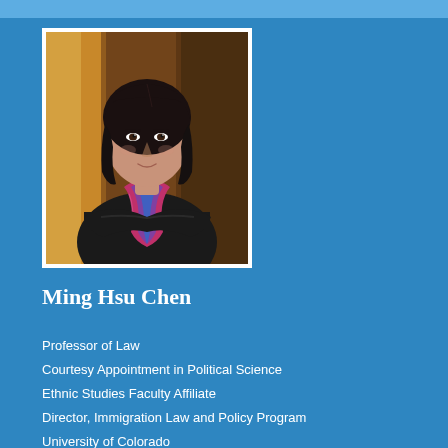[Figure (photo): Professional headshot portrait of Ming Hsu Chen, a woman with dark shoulder-length hair wearing a dark jacket and colorful pink/blue scarf, arms crossed, against a warm brown background with white border frame.]
Ming Hsu Chen
Professor of Law
Courtesy Appointment in Political Science
Ethnic Studies Faculty Affiliate
Director, Immigration Law and Policy Program
University of Colorado